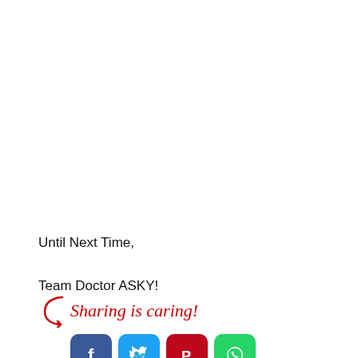Until Next Time,

Team Doctor ASKY!
[Figure (infographic): Sharing is caring! banner with a red cursive arrow and social media icons for Facebook, Twitter, Pinterest, and WhatsApp]